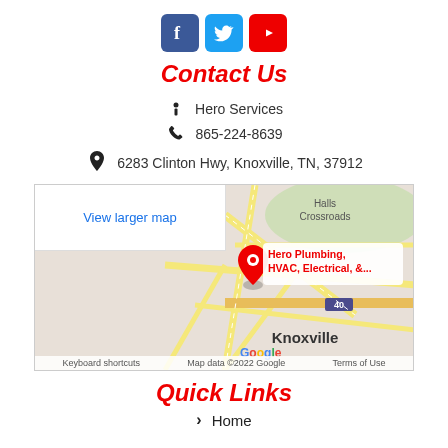[Figure (logo): Social media icons: Facebook (blue), Twitter (light blue), YouTube (red)]
Contact Us
Hero Services
865-224-8639
6283 Clinton Hwy, Knoxville, TN, 37912
[Figure (map): Google Map showing Hero Plumbing, HVAC, Electrical & ... location near Knoxville, TN. Includes 'View larger map' button, red location pin, and Google branding with 'Keyboard shortcuts', 'Map data ©2022 Google', 'Terms of Use'.]
Quick Links
Home